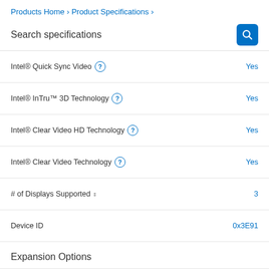Products Home › Product Specifications ›
Search specifications
| Specification | Value |
| --- | --- |
| Intel® Quick Sync Video | Yes |
| Intel® InTru™ 3D Technology | Yes |
| Intel® Clear Video HD Technology | Yes |
| Intel® Clear Video Technology | Yes |
| # of Displays Supported ‡ | 3 |
| Device ID | 0x3E91 |
Expansion Options
| Specification | Value |
| --- | --- |
| Scalability | 1S Only |
| PCI Express Revision | 3.0 |
| PCI Express Configurations ‡ | Up to 1x16, 2x8, 1x8+2x4 |